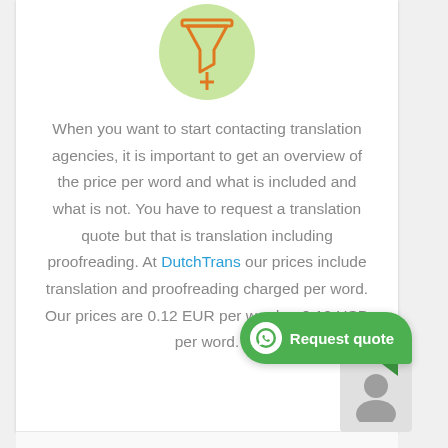[Figure (illustration): Orange filter/funnel icon inside a light green circle, partially cropped at top]
When you want to start contacting translation agencies, it is important to get an overview of the price per word and what is included and what is not. You have to request a translation quote but that is translation including proofreading. At DutchTrans our prices include translation and proofreading charged per word. Our prices are 0.12 EUR per word or 0.12 USD per word.
[Figure (other): Green WhatsApp button with phone icon and text 'Request quote']